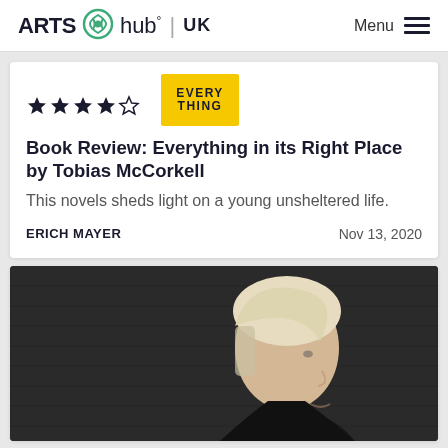ARTS hub° | UK — Menu
[Figure (screenshot): Star rating showing 3.5 out of 5 stars, and a yellow book cover thumbnail with text EVERYTHING]
Book Review: Everything in its Right Place by Tobias McCorkell
This novels sheds light on a young unsheltered life.
ERICH MAYER   Nov 13, 2020
[Figure (photo): Portrait photo of a person with blonde hair in profile/three-quarter view against a dark brick wall background]